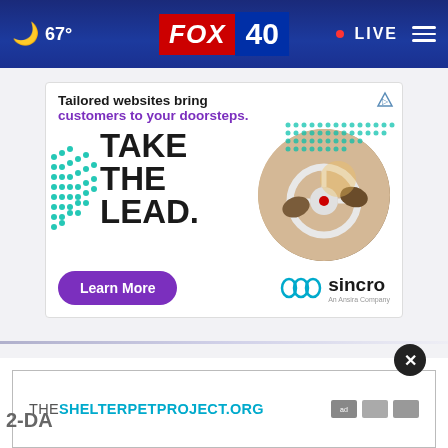🌙 67° FOX 40 • LIVE
[Figure (screenshot): FOX 40 website header with moon icon, temperature 67°, FOX 40 logo in red/blue boxes, LIVE indicator with red dot, and hamburger menu icon]
[Figure (infographic): Sincro advertisement: 'Tailored websites bring customers to your doorsteps. TAKE THE LEAD.' with teal arrow graphic, circular photo of hands on steering wheel, Learn More purple button, and Sincro logo]
Tailored websites bring customers to your doorsteps.
TAKE THE LEAD.
Learn More
sincro
THESHELTERPETPROJECT.ORG
2-DA